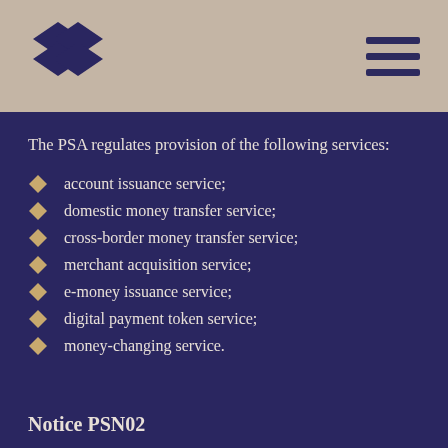[Figure (logo): Diamond/rhombus geometric logo mark in dark navy blue, double overlapping diamond shapes]
The PSA regulates provision of the following services:
account issuance service;
domestic money transfer service;
cross-border money transfer service;
merchant acquisition service;
e-money issuance service;
digital payment token service;
money-changing service.
Notice PSN02